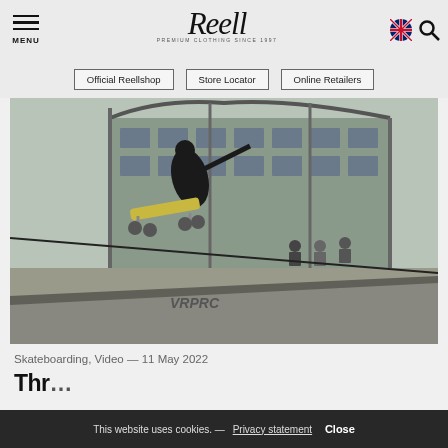MENU | Reell Premium Clothing Since 1997 | [UK flag] [Search]
Official Reellshop
Store Locator
Online Retailers
[Figure (photo): Skateboarder performing a trick in the air with a skateboard, in front of a large industrial/warehouse building with steel structure and windows. Other people are sitting in the background on the grass.]
Skateboarding, Video — 11 May 2022
Thr...
This website uses cookies. — Privacy statement Close